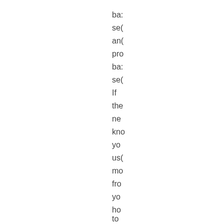ba:
se(
an(
pro
ba:
se(
If
the
ne
kno
yo
us(
mo
fro
yo
ho
to